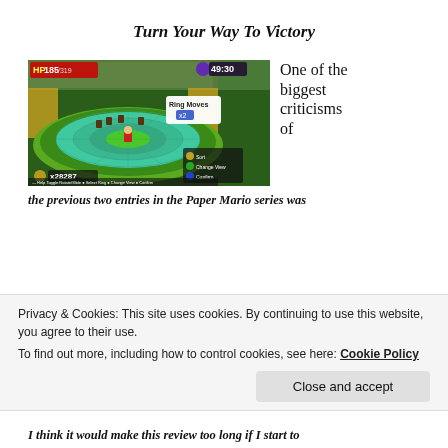Turn Your Way To Victory
[Figure (screenshot): Screenshot of Paper Mario: The Origami King battle system showing a ring-based puzzle arena with Mario in the center, enemies on the rings, HP display showing 185/319, timer 49:30, coin count x28287, Ring Moves UI, and action buttons for Sort, Change View, Confirm at the bottom.]
One of the biggest criticisms of
the previous two entries in the Paper Mario series was
Privacy & Cookies: This site uses cookies. By continuing to use this website, you agree to their use.
To find out more, including how to control cookies, see here: Cookie Policy
I think it would make this review too long if I start to